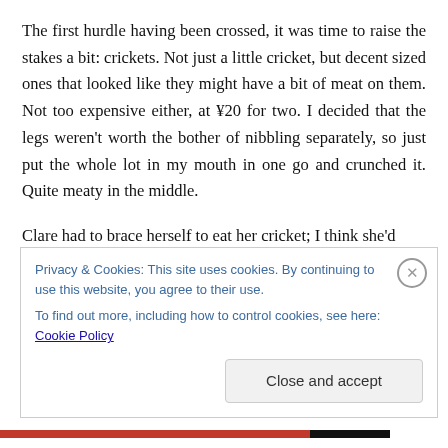The first hurdle having been crossed, it was time to raise the stakes a bit: crickets. Not just a little cricket, but decent sized ones that looked like they might have a bit of meat on them. Not too expensive either, at ¥20 for two. I decided that the legs weren't worth the bother of nibbling separately, so just put the whole lot in my mouth in one go and crunched it. Quite meaty in the middle.
Clare had to brace herself to eat her cricket; I think she'd
Privacy & Cookies: This site uses cookies. By continuing to use this website, you agree to their use.
To find out more, including how to control cookies, see here: Cookie Policy